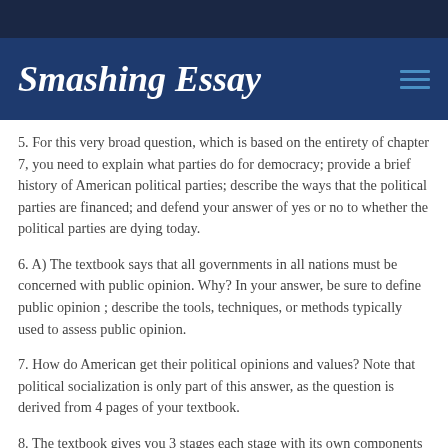Smashing Essay
5. For this very broad question, which is based on the entirety of chapter 7, you need to explain what parties do for democracy; provide a brief history of American political parties; describe the ways that the political parties are financed; and defend your answer of yes or no to whether the political parties are dying today.
6. A) The textbook says that all governments in all nations must be concerned with public opinion. Why? In your answer, be sure to define public opinion ; describe the tools, techniques, or methods typically used to assess public opinion.
7. How do American get their political opinions and values? Note that political socialization is only part of this answer, as the question is derived from 4 pages of your textbook.
8. The textbook gives you 3 stages each stage with its own components that a candidate goes through when running for president. Discuss each one thoroughly. Note that any answer